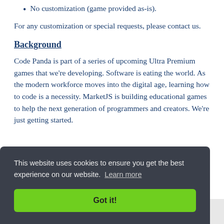No customization (game provided as-is).
For any customization or special requests, please contact us.
Background
Code Panda is part of a series of upcoming Ultra Premium games that we're developing. Software is eating the world. As the modern workforce moves into the digital age, learning how to code is a necessity. MarketJS is building educational games to help the next generation of programmers and creators. We're just getting started.
This website uses cookies to ensure you get the best experience on our website. Learn more
Got it!
Full name